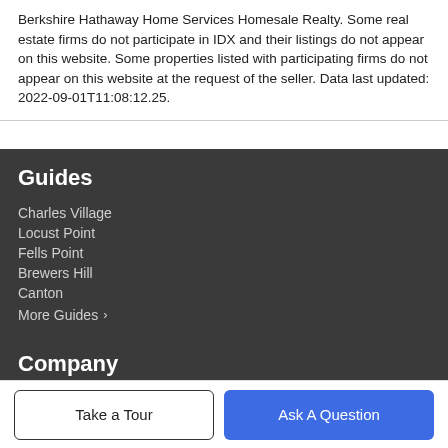Berkshire Hathaway Home Services Homesale Realty. Some real estate firms do not participate in IDX and their listings do not appear on this website. Some properties listed with participating firms do not appear on this website at the request of the seller. Data last updated: 2022-09-01T11:08:12.25.
Guides
Charles Village
Locust Point
Fells Point
Brewers Hill
Canton
More Guides ›
Company
Take a Tour
Ask A Question